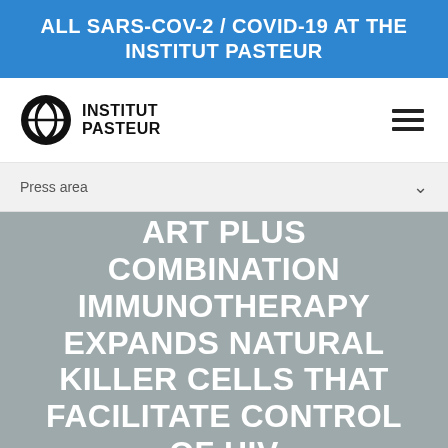ALL SARS-COV-2 / COVID-19 AT THE INSTITUT PASTEUR
[Figure (logo): Institut Pasteur logo with circular globe icon and bold uppercase text INSTITUT PASTEUR]
Press area
ART PLUS COMBINATION IMMUNOTHERAPY EXPANDS NATURAL KILLER CELLS THAT FACILITATE CONTROL OF HIV